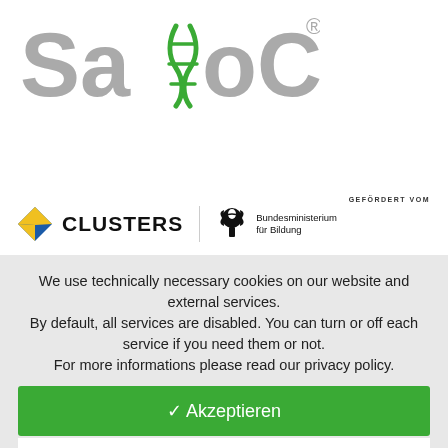[Figure (logo): SaxoCell logo with DNA helix graphic replacing the letter X, text in gray with green DNA icon and registered trademark symbol]
[Figure (logo): Partner logos area: Clusters logo with blue/yellow diamond shape and CLUSTERS text, and Bundesministerium für Bildung logo with German eagle emblem, with GEFÖRDERT VOM label above]
We use technically necessary cookies on our website and external services. By default, all services are disabled. You can turn or off each service if you need them or not. For more informations please read our privacy policy.
✓ Akzeptieren
Personalisieren